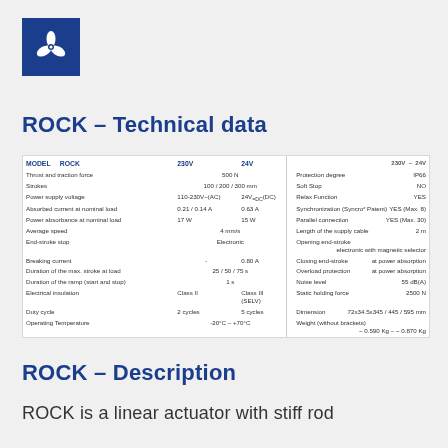[Figure (logo): Blue square logo with white three-blade fan/propeller icon]
ROCK – Technical data
| MODEL  ROCK | 230V | 24V |  | 230V – 24V |
| --- | --- | --- | --- | --- |
| Thrust and traction force | 500 N |  | Protection degree | IP66 |
| Strokes | 100 / 200 / 300 mm |  | Soft Stop | NO |
| Power supply voltage | 110-230V~(AC) | 24V=DC(DC) | Relax Function | YES |
| Absorbed current at nominal load | 0.21 / 0.14 A | 0.63 A | Synchronization (Syncro² Patent) | YES (Max. 8) |
| Power absorbance at nominal load | 17 W | 15 W | Parallel connection | YES (Max. 30) |
| Average speed | 4 mm/s |  | Length of the supply cable | 2 m |
| End-stroke stop | Electronic |  | Opening end-stroke | electronic with magnetic selector |
| Breaking current | - | 0.80 A | Closing end-stroke | at power absorption |
| Duration of the max. stroke at load | 25 / 50 / 75 s |  | Overload protection | at power absorption |
| Duration of the ramp (start and stop) | 1 s |  | Noise level | 55 dB(A) |
| Electrical insulation | Class II | Class III (SELV) | Static holding force | 2500 N |
| Duty cycle | 2 cycles | 5 cycles | Dimension | 72x34.5x345 / 445 / 595 mm |
| Operating Temperature | -20°C – +70°C |  | Weight (without brackets) | ~ 0.590 Kg – ~ 0.870 Kg |
ROCK – Description
ROCK is a linear actuator with stiff rod